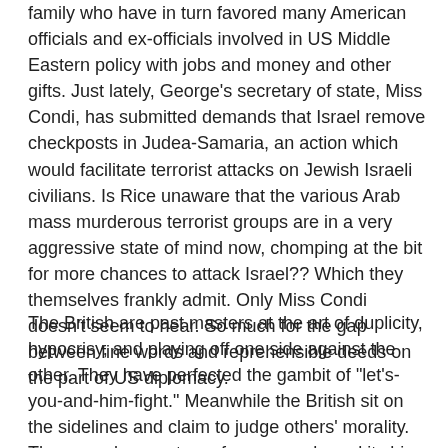family who have in turn favored many American officials and ex-officials involved in US Middle Eastern policy with jobs and money and other gifts. Just lately, George's secretary of state, Miss Condi, has submitted demands that Israel remove checkposts in Judea-Samaria, an action which would facilitate terrorist attacks on Jewish Israeli civilians. Is Rice unaware that the various Arab mass murderous terrorist groups are in a very aggressive state of mind now, chomping at the bit for more chances to attack Israel?? Which they themselves frankly admit. Only Miss Condi doesn't seem to hear. So much for the gap between fine words and reprehensible deeds on the part of US diplomacy.
The British are past masters at the art of duplicity, hypocrisy, and playing off one side against the other. They have perfected the gambit of "let's-you-and-him-fight." Meanwhile the British sit on the sidelines and claim to judge others' morality. They are also masters of propaganda and its big sister, psychological warfare. The mainstream media in the USA and in much of Western Europe overlook the real situation, preferring paranoid fantasies of total USA support for Israel or even "Jewish Neo-Con" or "Zionist" control of